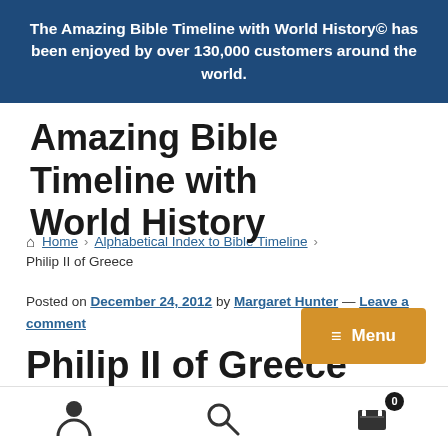The Amazing Bible Timeline with World History© has been enjoyed by over 130,000 customers around the world.
Amazing Bible Timeline with World History
≡ Menu
🏠 Home › Alphabetical Index to Bible Timeline › Philip II of Greece
Posted on December 24, 2012 by Margaret Hunter — Leave a comment
Philip II of Greece